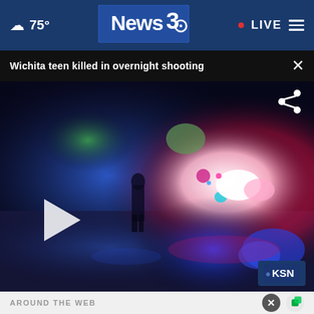☁ 75° | News3 | LIVE
Wichita teen killed in overnight shooting
[Figure (screenshot): News video thumbnail showing police lights at night, blue and red flashing lights with a silhouette of a person standing in the road. Play button overlay. KSN watermark in bottom right corner. Share icon in top right corner.]
AROUND THE WEB
[Figure (photo): Advertisement banner reading ALL DONATIONS BENEFIT LOCAL VETERANS IN GEORGIA AND PHENIX CITY. DONATE NOW! Shows group photo of people in black uniforms.]